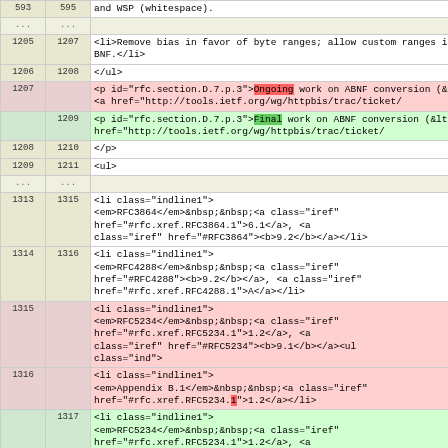| old | new | content |
| --- | --- | --- |
| 593 | 595 | and WSP (whitespace). |
| ... | ... |  |
| 1205 | 1207 | <li>Remove bias in favor of byte ranges; allow custom ranges in ABNF.</li> |
| 1206 | 1208 | </ul> |
| 1207 |  | <p id="rfc.section.D.7.p.3">Ongoing work on ABNF conversion (&lt;<a href="http://tools.ietf.org/wg/httpbis/trac/ticket/... |
|  | 1209 | <p id="rfc.section.D.7.p.3">Final work on ABNF conversion (&lt;<a href="http://tools.ietf.org/wg/httpbis/trac/ticket/... |
| 1208 | 1210 | </p> |
| 1209 | 1211 | <ul> |
| ... | ... |  |
| 1313 | 1315 | <li class="indline1"><em>RFC3864</em>&nbsp;&nbsp;<a class="iref" href="#rfc.xref.RFC3864.1">6.1</a>, <a class="iref" href="#RFC3864"><b>9.2</b></a></li> |
| 1314 | 1316 | <li class="indline1"><em>RFC4288</em>&nbsp;&nbsp;<a class="iref" href="#RFC4288"><b>9.2</b></a>, <a class="iref" href="#rfc.xref.RFC4288.1">A</a></li> |
| 1315 |  | <li class="indline1"><em>RFC5234</em>&nbsp;&nbsp;<a class="iref" href="#rfc.xref.RFC5234.1">1.2</a>, <a class="iref" href="#RFC5234"><b>9.1</b></a><ul class="ind"> |
| 1316 |  | <li class="indline1"><em>Appendix B.1</em>&nbsp;&nbsp;<a class="iref" href="#rfc.xref.RFC5234.1">1.2</a></li> |
|  | 1317 | <li class="indline1"><em>RFC5234</em>&nbsp;&nbsp;<a class="iref" href="#rfc.xref.RFC5234.1">1.2</a>, <a class="iref" href="#rfc.xref.RFC5234.2">1.2</a>, <a class="iref" href="#RFC5234"><b>9.1</b></a></li> |